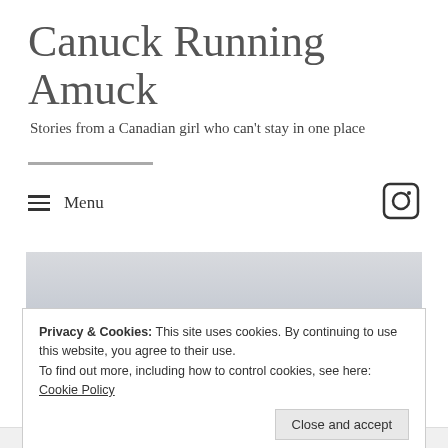Canuck Running Amuck
Stories from a Canadian girl who can't stay in one place
Menu
[Figure (photo): Outdoor landscape photo showing a grey sky with treeline visible in the lower right corner]
Privacy & Cookies: This site uses cookies. By continuing to use this website, you agree to their use.
To find out more, including how to control cookies, see here: Cookie Policy
Close and accept